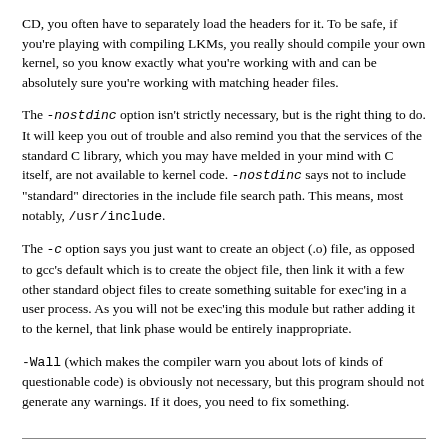CD, you often have to separately load the headers for it. To be safe, if you're playing with compiling LKMs, you really should compile your own kernel, so you know exactly what you're working with and can be absolutely sure you're working with matching header files.
The -nostdinc option isn't strictly necessary, but is the right thing to do. It will keep you out of trouble and also remind you that the services of the standard C library, which you may have melded in your mind with C itself, are not available to kernel code. -nostdinc says not to include "standard" directories in the include file search path. This means, most notably, /usr/include.
The -c option says you just want to create an object (.o) file, as opposed to gcc's default which is to create the object file, then link it with a few other standard object files to create something suitable for exec'ing in a user process. As you will not be exec'ing this module but rather adding it to the kernel, that link phase would be entirely inappropriate.
-Wall (which makes the compiler warn you about lots of kinds of questionable code) is obviously not necessary, but this program should not generate any warnings. If it does, you need to fix something.